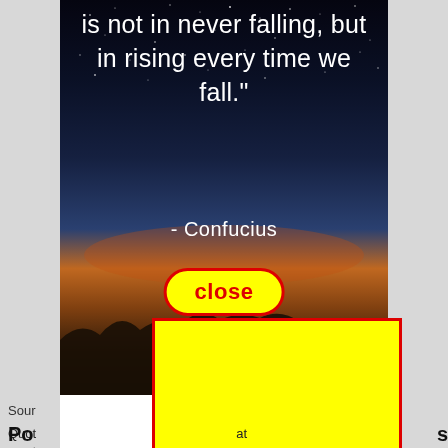[Figure (photo): Night sky photo with stars and horizon glow (orange/blue gradient), showing a Confucius quote in white text: 'is not in never falling, but in rising every time we fall.' attributed to - Confucius, with a yellow 'close' button with red border overlaid, and a large yellow rectangle with red border covering the lower portion of the image and extending into the white content area below.]
Sour
Quot ... at you t
Po ... s